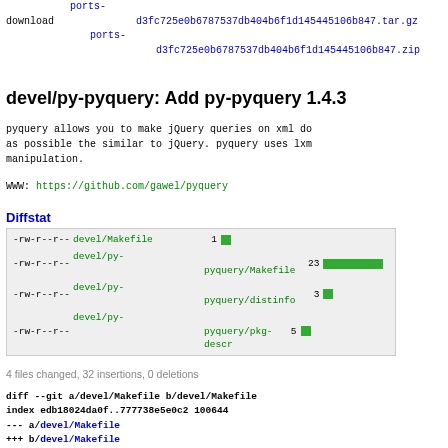download  ports-d3fc725e0b6787537db404b6f1d145445106b847.tar.gz
          ports-d3fc725e0b6787537db404b6f1d145445106b847.zip
devel/py-pyquery: Add py-pyquery 1.4.3
pyquery allows you to make jQuery queries on xml do as possible the similar to jQuery. pyquery uses lxm manipulation.
WWW: https://github.com/gawel/pyquery
Diffstat
| permissions | filename | count | bar |
| --- | --- | --- | --- |
| -rw-r--r-- | devel/Makefile | 1 |  |
| -rw-r--r-- | devel/py-pyquery/Makefile | 23 |  |
| -rw-r--r-- | devel/py-pyquery/distinfo | 3 |  |
| -rw-r--r-- | devel/py-pyquery/pkg-descr | 5 |  |
4 files changed, 32 insertions, 0 deletions
diff --git a/devel/Makefile b/devel/Makefile
index edb18024da0f..777738e5e0c2 100644
--- a/devel/Makefile
+++ b/devel/Makefile